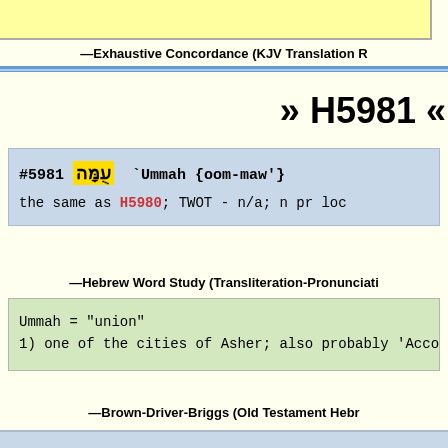—Exhaustive Concordance (KJV Translation R...
» H5981 «
#5981 עֻמָּה `Ummah {oom-maw'}
the same as H5980; TWOT - n/a; n pr loc
—Hebrew Word Study (Transliteration-Pronunciati...
Ummah = "union"
1) one of the cities of Asher; also probably 'Acco
—Brown-Driver-Briggs (Old Testament Hebr...